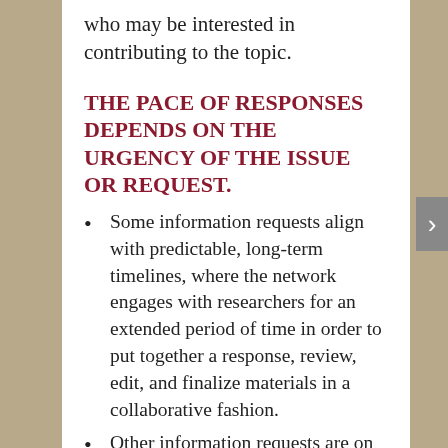who may be interested in contributing to the topic.
THE PACE OF RESPONSES DEPENDS ON THE URGENCY OF THE ISSUE OR REQUEST.
Some information requests align with predictable, long-term timelines, where the network engages with researchers for an extended period of time in order to put together a response, review, edit, and finalize materials in a collaborative fashion.
Other information requests are on issues that may require a fast-